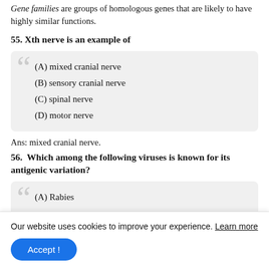Gene families are groups of homologous genes that are likely to have highly similar functions.
55. Xth nerve is an example of
(A) mixed cranial nerve
(B) sensory cranial nerve
(C) spinal nerve
(D) motor nerve
Ans: mixed cranial nerve.
56. Which among the following viruses is known for its antigenic variation?
(A) Rabies
Our website uses cookies to improve your experience. Learn more